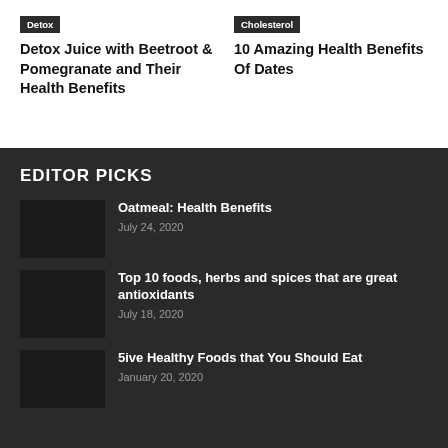Detox
Detox Juice with Beetroot & Pomegranate and Their Health Benefits
Cholesterol
10 Amazing Health Benefits Of Dates
EDITOR PICKS
Oatmeal: Health Benefits
July 24, 2020
Top 10 foods, herbs and spices that are great antioxidants
July 18, 2020
5ive Healthy Foods that You Should Eat
January 20, 2020